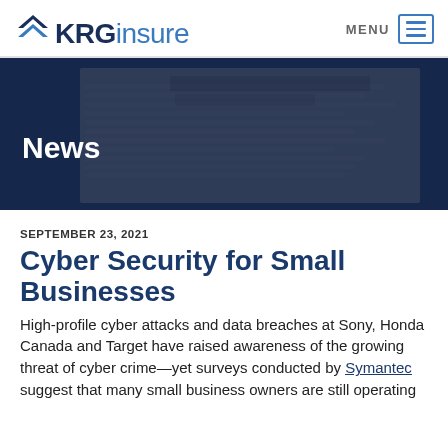KRGinsure | MENU
[Figure (photo): Newspaper pages with financial headlines, dark blue overlay, 'News' text overlay in white]
SEPTEMBER 23, 2021
Cyber Security for Small Businesses
High-profile cyber attacks and data breaches at Sony, Honda Canada and Target have raised awareness of the growing threat of cyber crime—yet surveys conducted by Symantec suggest that many small business owners are still operating